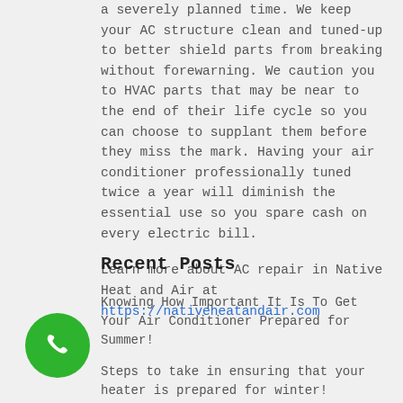a severely planned time. We keep your AC structure clean and tuned-up to better shield parts from breaking without forewarning. We caution you to HVAC parts that may be near to the end of their life cycle so you can choose to supplant them before they miss the mark. Having your air conditioner professionally tuned twice a year will diminish the essential use so you spare cash on every electric bill.

Learn more about AC repair in Native Heat and Air at https://nativeheatandair.com
Recent Posts
Knowing How Important It Is To Get Your Air Conditioner Prepared for Summer!
Steps to take in ensuring that your heater is prepared for winter!
…ive Heat and Air!
…Importance of Preventive and Checklist Your Heat…